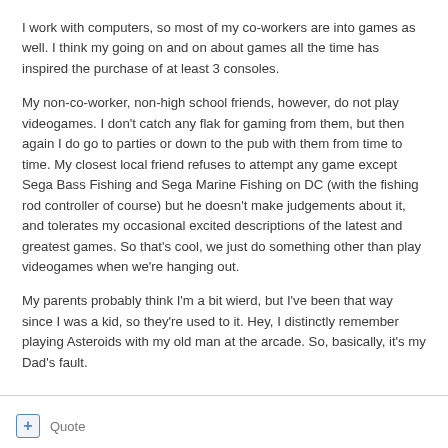I work with computers, so most of my co-workers are into games as well. I think my going on and on about games all the time has inspired the purchase of at least 3 consoles.
My non-co-worker, non-high school friends, however, do not play videogames. I don't catch any flak for gaming from them, but then again I do go to parties or down to the pub with them from time to time. My closest local friend refuses to attempt any game except Sega Bass Fishing and Sega Marine Fishing on DC (with the fishing rod controller of course) but he doesn't make judgements about it, and tolerates my occasional excited descriptions of the latest and greatest games. So that's cool, we just do something other than play videogames when we're hanging out.
My parents probably think I'm a bit wierd, but I've been that way since I was a kid, so they're used to it. Hey, I distinctly remember playing Asteroids with my old man at the arcade. So, basically, it's my Dad's fault.
Quote